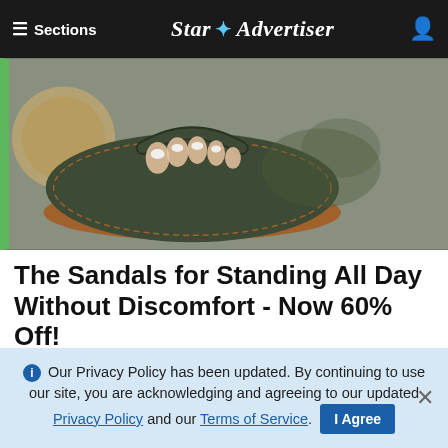≡ Sections  Star ✦ Advertiser
[Figure (photo): Close-up photo of feet wearing dark green/grey embossed flip-flop sandals with brown soles, with white painted toenails visible, on a grey surface with a woven basket in background.]
The Sandals for Standing All Day Without Discomfort - Now 60% Off!
Sursell | Sponsored
[Figure (photo): Close-up photo of a smartwatch on a wrist showing a round face with a teal/dark green case, with colorful card-like items visible near the watch, and a black tool nearby. Text 'moe ne' visible in background.]
ⓘ Our Privacy Policy has been updated. By continuing to use our site, you are acknowledging and agreeing to our updated Privacy Policy and our Terms of Service. I Agree